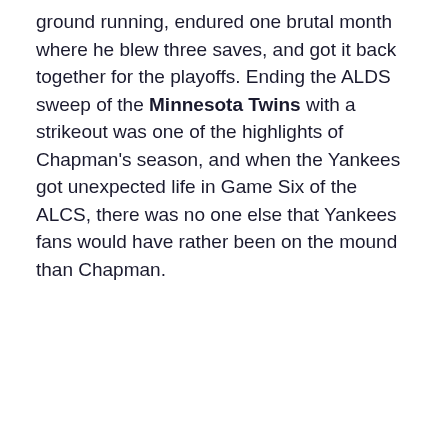ground running, endured one brutal month where he blew three saves, and got it back together for the playoffs. Ending the ALDS sweep of the Minnesota Twins with a strikeout was one of the highlights of Chapman's season, and when the Yankees got unexpected life in Game Six of the ALCS, there was no one else that Yankees fans would have rather been on the mound than Chapman.